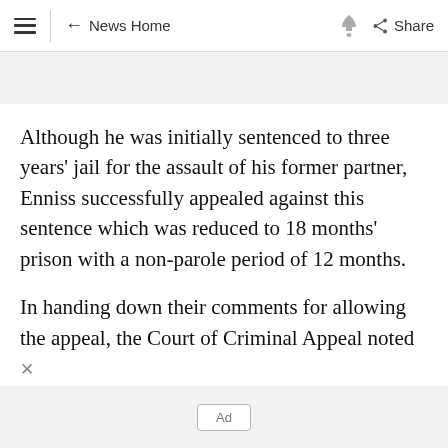≡  ← News Home  🔔  Share
Although he was initially sentenced to three years' jail for the assault of his former partner, Enniss successfully appealed against this sentence which was reduced to 18 months' prison with a non-parole period of 12 months.
In handing down their comments for allowing the appeal, the Court of Criminal Appeal noted
Ad